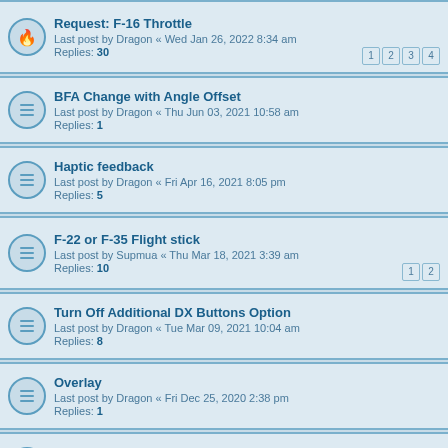Request: F-16 Throttle
Last post by Dragon « Wed Jan 26, 2022 8:34 am
Replies: 30
Pages: 1 2 3 4
BFA Change with Angle Offset
Last post by Dragon « Thu Jun 03, 2021 10:58 am
Replies: 1
Haptic feedback
Last post by Dragon « Fri Apr 16, 2021 8:05 pm
Replies: 5
F-22 or F-35 Flight stick
Last post by Supmua « Thu Mar 18, 2021 3:39 am
Replies: 10
Pages: 1 2
Turn Off Additional DX Buttons Option
Last post by Dragon « Tue Mar 09, 2021 10:04 am
Replies: 8
Overlay
Last post by Dragon « Fri Dec 25, 2020 2:38 pm
Replies: 1
F18CGRH Trim hat
Last post by Dragon « Fri Dec 25, 2020 2:37 pm
Replies: 1
Suggestion for a new control mode
Last post by Dragon « Fri Dec 25, 2020 2:36 pm
Replies: 1
Dx Button Output for modes
Last post by Scotty « Sat Nov 07, 2020 10:55 am